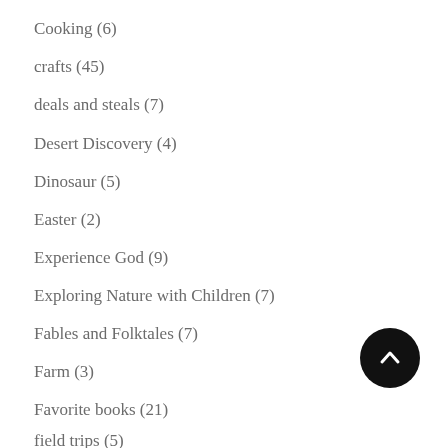Cooking (6)
crafts (45)
deals and steals (7)
Desert Discovery (4)
Dinosaur (5)
Easter (2)
Experience God (9)
Exploring Nature with Children (7)
Fables and Folktales (7)
Farm (3)
Favorite books (21)
field trips (5)